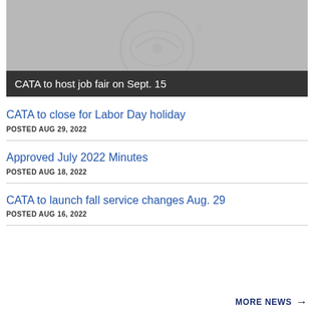[Figure (photo): Gray background image with a circular transit/bus logo watermark. A dark bar overlays the bottom with caption text.]
CATA to host job fair on Sept. 15
CATA to close for Labor Day holiday
POSTED AUG 29, 2022
Approved July 2022 Minutes
POSTED AUG 18, 2022
CATA to launch fall service changes Aug. 29
POSTED AUG 16, 2022
MORE NEWS →